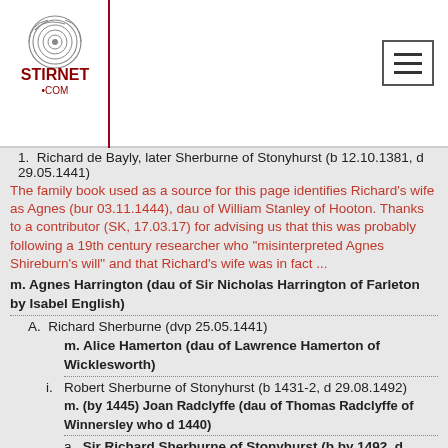Stirnet.com logo and navigation
Richard de Bayly, later Sherburne of Stonyhurst (b 12.10.1381, d 29.05.1441)
The family book used as a source for this page identifies Richard's wife as Agnes (bur 03.11.1444), dau of William Stanley of Hooton. Thanks to a contributor (SK, 17.03.17) for advising us that this was probably following a 19th century researcher who "misinterpreted Agnes Shireburn's will" and that Richard's wife was in fact ...
m. Agnes Harrington (dau of Sir Nicholas Harrington of Farleton by Isabel English)
A. Richard Sherburne (dvp 25.05.1441)
m. Alice Hamerton (dau of Lawrence Hamerton of Wicklesworth)
i. Robert Sherburne of Stonyhurst (b 1431-2, d 29.08.1492)
m. (by 1445) Joan Radclyffe (dau of Thomas Radclyffe of Winnersley who d 1440)
a. Sir Richard Sherburne of Stonyhurst (b by 1492, d 03.08.1513) - continued below
m. Johanna Langton (dau of Henry Langton of